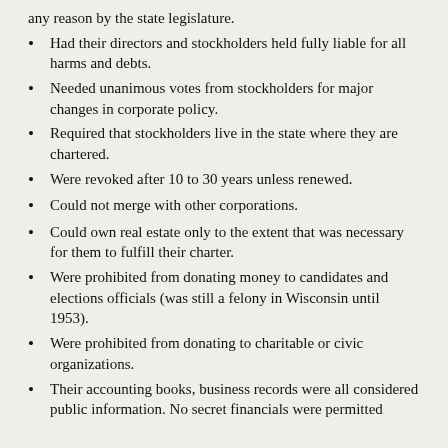any reason by the state legislature.
Had their directors and stockholders held fully liable for all harms and debts.
Needed unanimous votes from stockholders for major changes in corporate policy.
Required that stockholders live in the state where they are chartered.
Were revoked after 10 to 30 years unless renewed.
Could not merge with other corporations.
Could own real estate only to the extent that was necessary for them to fulfill their charter.
Were prohibited from donating money to candidates and elections officials (was still a felony in Wisconsin until 1953).
Were prohibited from donating to charitable or civic organizations.
Their accounting books, business records were all considered public information. No secret financials were permitted